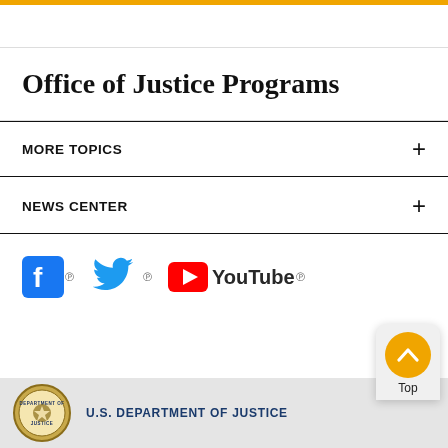Office of Justice Programs
MORE TOPICS +
NEWS CENTER +
[Figure (logo): Social media icons: Facebook, Twitter, YouTube]
[Figure (logo): U.S. Department of Justice seal and footer with text U.S. DEPARTMENT OF JUSTICE and a Back to Top button]